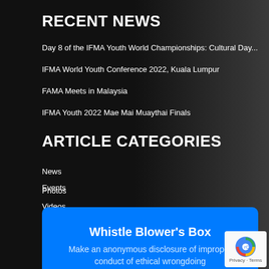RECENT NEWS
Day 8 of the IFMA Youth World Championships: Cultural Day...
IFMA World Youth Conference 2022, Kuala Lumpur
FAMA Meets in Malaysia
IFMA Youth 2022 Mae Mai Muaythai Finals
ARTICLE CATEGORIES
News
Events
Photos
Videos
Whistle Blower's Box
Make an anonymous disclosure of improper conduct of ethical wrongdoing